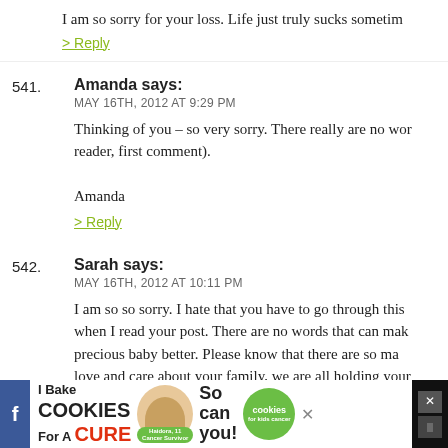I am so sorry for your loss. Life just truly sucks sometim
> Reply
541. Amanda says: MAY 16TH, 2012 AT 9:29 PM — Thinking of you – so very sorry. There really are no words reader, first comment). Amanda
> Reply
542. Sarah says: MAY 16TH, 2012 AT 10:11 PM — I am so so sorry. I hate that you have to go through this when I read your post. There are no words that can mak precious baby better. Please know that there are so ma love and care about your family, we are all holding your hearts. Big Hugs
[Figure (other): Advertisement banner: I Bake COOKIES For A CURE — Haidora, 11 Cancer Survivor — So can you! — cookies for kids cancer]